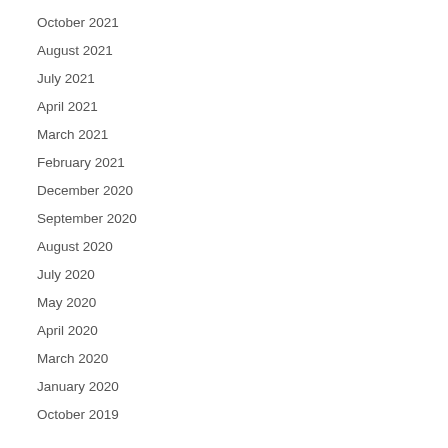October 2021
August 2021
July 2021
April 2021
March 2021
February 2021
December 2020
September 2020
August 2020
July 2020
May 2020
April 2020
March 2020
January 2020
October 2019